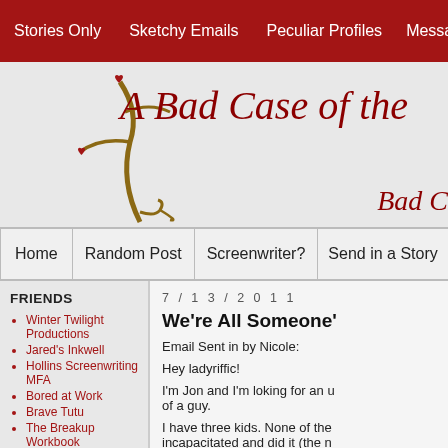Stories Only  Sketchy Emails  Peculiar Profiles  Message
[Figure (illustration): Blog logo with decorative branch, hearts, and cursive title 'A Bad Case of the' with subtitle 'Bad C...']
Home  Random Post  Screenwriter?  Send in a Story
FRIENDS
Winter Twilight Productions
Jared's Inkwell
Hollins Screenwriting MFA
Bored at Work
Brave Tutu
The Breakup Workbook
Claire the Armadillo
Cullen Studios
7/13/2011
We're All Someone'
Email Sent in by Nicole:
Hey ladyriffic!
I'm Jon and I'm loking for an u of a guy.
I have three kids.  None of the incapacitated and did it (the n